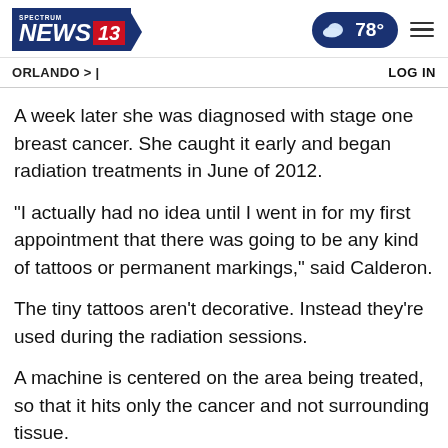[Figure (logo): Spectrum News 13 logo with blue background and red 13 badge]
[Figure (infographic): Weather pill showing cloud icon and 78 degrees temperature, and hamburger menu icon]
ORLANDO > |
LOG IN
A week later she was diagnosed with stage one breast cancer. She caught it early and began radiation treatments in June of 2012.
"I actually had no idea until I went in for my first appointment that there was going to be any kind of tattoos or permanent markings," said Calderon.
The tiny tattoos aren't decorative. Instead they're used during the radiation sessions.
A machine is centered on the area being treated, so that it hits only the cancer and not surrounding tissue.
"The next all...